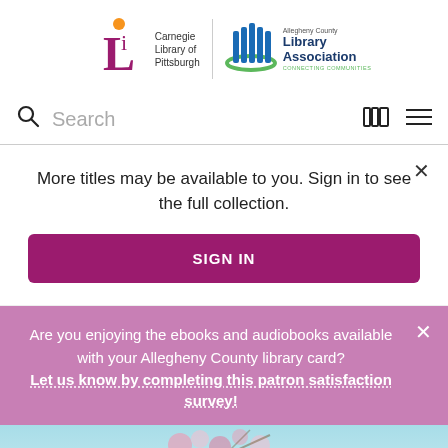[Figure (logo): Carnegie Library of Pittsburgh and Allegheny County Library Association logos side by side separated by a vertical divider line]
Search
More titles may be available to you. Sign in to see the full collection.
SIGN IN
Are you enjoying the ebooks and audiobooks available with your Allegheny County library card? Let us know by completing this patron satisfaction survey!
[Figure (photo): Partial view of what appears to be a book cover with floral/spring imagery in blue and pink tones]